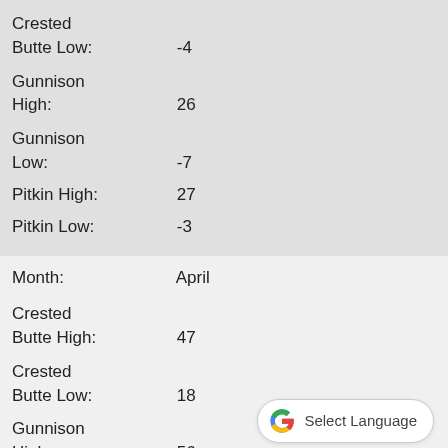Crested Butte Low:  -4
Gunnison High:  26
Gunnison Low:  -7
Pitkin High:  27
Pitkin Low:  -3
Month:  April
Crested Butte High:  47
Crested Butte Low:  18
Gunnison High:  56